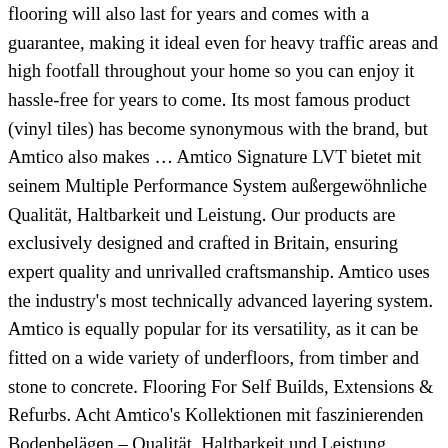flooring will also last for years and comes with a guarantee, making it ideal even for heavy traffic areas and high footfall throughout your home so you can enjoy it hassle-free for years to come. Its most famous product (vinyl tiles) has become synonymous with the brand, but Amtico also makes … Amtico Signature LVT bietet mit seinem Multiple Performance System außergewöhnliche Qualität, Haltbarkeit und Leistung. Our products are exclusively designed and crafted in Britain, ensuring expert quality and unrivalled craftsmanship. Amtico uses the industry's most technically advanced layering system. Amtico is equally popular for its versatility, as it can be fitted on a wide variety of underfloors, from timber and stone to concrete. Flooring For Self Builds, Extensions & Refurbs. Acht Amtico's Kollektionen mit faszinierenden Bodenbelägen – Qualität, Haltbarkeit und Leistung garantiert. Floor Factory have been specially selected to become one of a small number of UK retailers who offer Amtico flooring solutions. Not all builders are incompetent